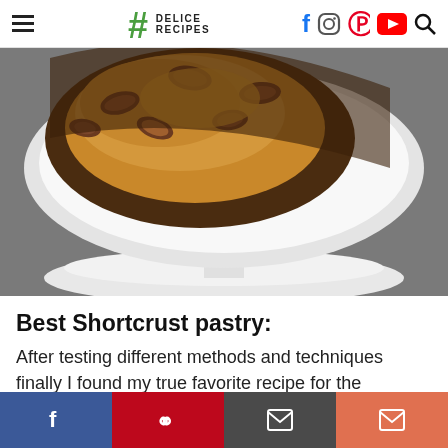# DELICE RECIPES — navigation with social icons: Facebook, Instagram, Pinterest, YouTube, Search
[Figure (photo): Close-up of a pecan caramel tart on a white cake stand, showing caramel sauce and whole pecans on top of a dark-edged pastry crust, photographed from above on a grey background.]
Best Shortcrust pastry:
After testing different methods and techniques finally I found my true favorite recipe for the
Social share buttons: Facebook, Pinterest, Message, Mail